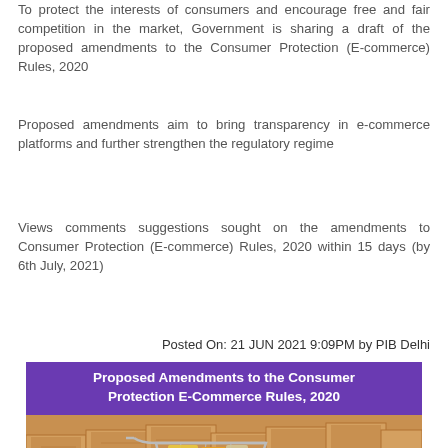To protect the interests of consumers and encourage free and fair competition in the market, Government is sharing a draft of the proposed amendments to the Consumer Protection (E-commerce) Rules, 2020
Proposed amendments aim to bring transparency in e-commerce platforms and further strengthen the regulatory regime
Views comments suggestions sought on the amendments to Consumer Protection (E-commerce) Rules, 2020 within 15 days (by 6th July, 2021)
Posted On: 21 JUN 2021 9:09PM by PIB Delhi
[Figure (illustration): Promotional banner image for Proposed Amendments to the Consumer Protection E-Commerce Rules, 2020. Shows a purple header with white bold text reading 'Proposed Amendments to the Consumer Protection E-Commerce Rules, 2020', below which is a photo of a shopping cart in front of stacked cardboard boxes, and a partial blue bold text reading 'Consumer' at the bottom.]